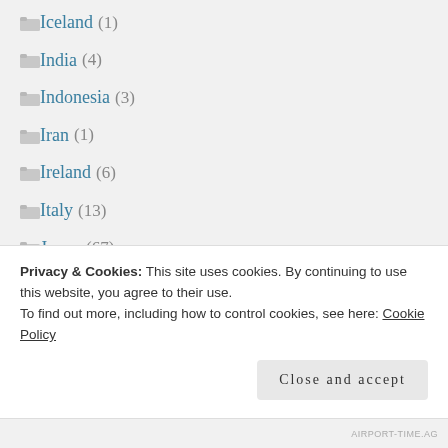Iceland (1)
India (4)
Indonesia (3)
Iran (1)
Ireland (6)
Italy (13)
Japan (67)
Jordan (2)
Latvia (1)
Malaysia (1)
Privacy & Cookies: This site uses cookies. By continuing to use this website, you agree to their use.
To find out more, including how to control cookies, see here: Cookie Policy
Close and accept
AIRPORT-TIME.AG